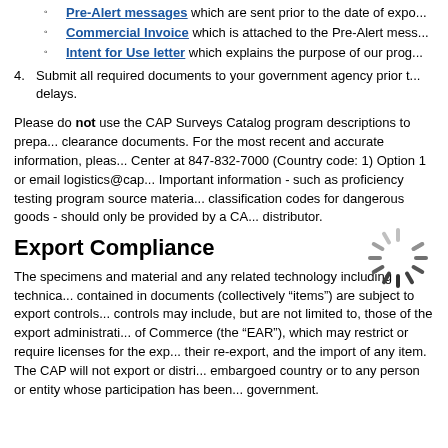Pre-Alert messages which are sent prior to the date of export
Commercial Invoice which is attached to the Pre-Alert message
Intent for Use letter which explains the purpose of our program
4. Submit all required documents to your government agency prior to delays.
Please do not use the CAP Surveys Catalog program descriptions to prepare clearance documents. For the most recent and accurate information, please contact the Center at 847-832-7000 (Country code: 1) Option 1 or email logistics@cap. Important information - such as proficiency testing program source material and classification codes for dangerous goods - should only be provided by a CAP distributor.
[Figure (illustration): Loading spinner graphic, circular dashed rotating indicator]
Export Compliance
The specimens and material and any related technology including technical data contained in documents (collectively “items”) are subject to export controls. Such controls may include, but are not limited to, those of the export administration regulations of Commerce (the “EAR”), which may restrict or require licenses for the export, their re-export, and the import of any item. The CAP will not export or distribute to an embargoed country or to any person or entity whose participation has been denied by the government.